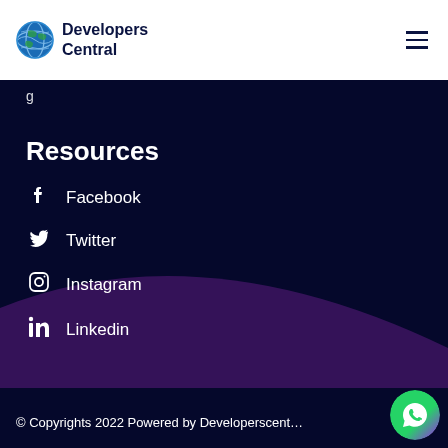Developers Central
Resources
Facebook
Twitter
Instagram
Linkedin
© Copyrights 2022 Powered by Developerscent…